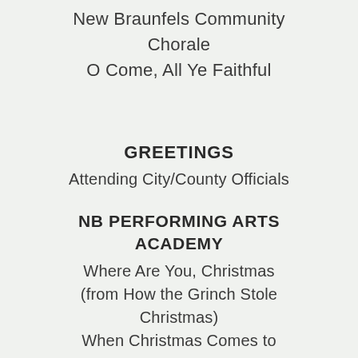New Braunfels Community Chorale
O Come, All Ye Faithful
GREETINGS
Attending City/County Officials
NB PERFORMING ARTS ACADEMY
Where Are You, Christmas
(from How the Grinch Stole Christmas)
When Christmas Comes to Town
(from Polar Express)